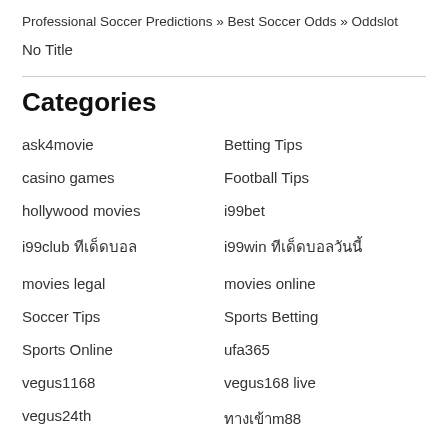Professional Soccer Predictions » Best Soccer Odds » Oddslot
No Title
Categories
ask4movie
Betting Tips
casino games
Football Tips
hollywood movies
i99bet
i99club ทีเด็ดบอล
i99win ทีเด็ดบอลวันนี้
movies legal
movies online
Soccer Tips
Sports Betting
Sports Online
ufa365
vegus1168
vegus168 live
vegus24th
ทางเข้าm88